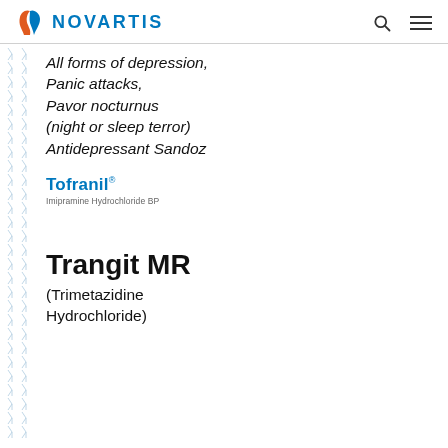NOVARTIS
All forms of depression,
Panic attacks,
Pavor nocturnus (night or sleep terror)
Antidepressant Sandoz
[Figure (logo): Tofranil brand logo with text 'Imipramine Hydrochloride BP']
Trangit MR
(Trimetazidine Hydrochloride)